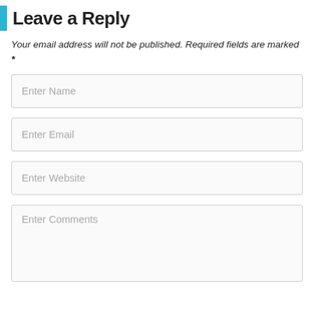Leave a Reply
Your email address will not be published. Required fields are marked *
[Figure (screenshot): Form field placeholder: Enter Name]
[Figure (screenshot): Form field placeholder: Enter Email]
[Figure (screenshot): Form field placeholder: Enter Website]
[Figure (screenshot): Form field placeholder: Enter Comments (textarea)]